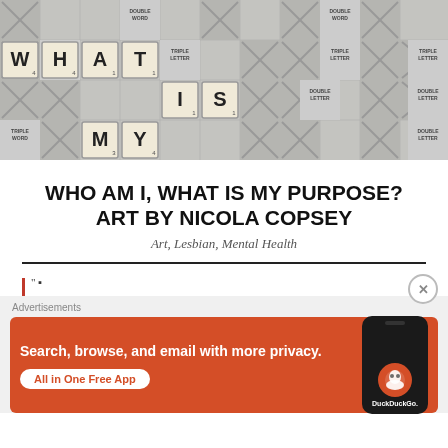[Figure (illustration): Scrabble board with tiles spelling WHAT IS MY in a grid pattern, with special bonus squares (Triple Letter, Double Word, Double Letter) visible throughout]
WHO AM I, WHAT IS MY PURPOSE? ART BY NICOLA COPSEY
Art, Lesbian, Mental Health
" ...
[Figure (screenshot): DuckDuckGo advertisement: Search, browse, and email with more privacy. All in One Free App. Shows a smartphone with DuckDuckGo logo.]